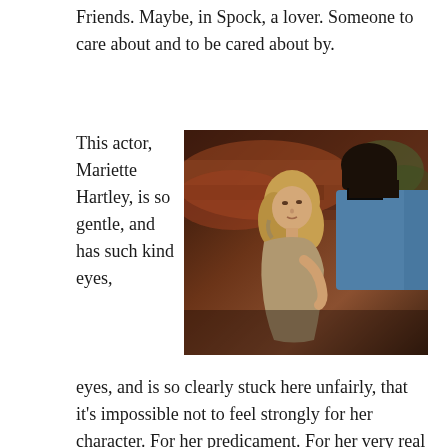Friends. Maybe, in Spock, a lover. Someone to care about and to be cared about by.
This actor, Mariette Hartley, is so gentle, and has such kind eyes, and is so clearly stuck here unfairly, that it's impossible not to feel strongly for her character. For her predicament. For her very real damnation at the hands of a society that has not thought about her
[Figure (photo): A still from Star Trek showing a woman with blonde hair in a draped garment facing a man in a blue Starfleet uniform, with an alien rocky landscape background in warm red-brown tones.]